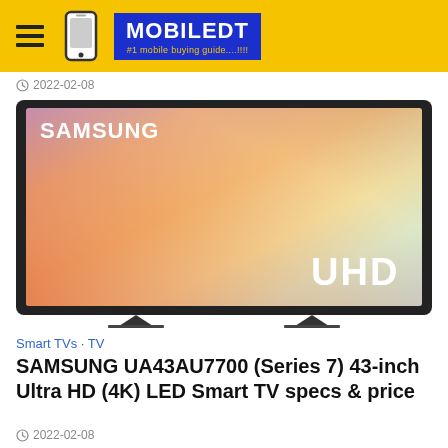MOBILEDT #1 mobile buying guide....!!!!
2022-02-08
[Figure (photo): Samsung UA43AU7700 Series 7 43-inch UHD Smart TV product photo showing a wide-screen TV with colorful display and UHD branding, on a dark stand against white background]
Smart TVs · TV
SAMSUNG UA43AU7700 (Series 7) 43-inch Ultra HD (4K) LED Smart TV specs & price
2022-02-08